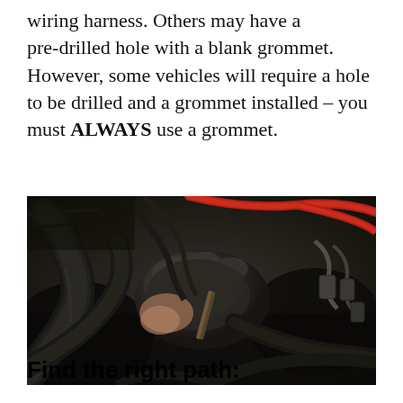wiring harness. Others may have a pre-drilled hole with a blank grommet. However, some vehicles will require a hole to be drilled and a grommet installed – you must ALWAYS use a grommet.
[Figure (photo): Close-up photo of a gloved hand working with wiring and cables inside a vehicle engine bay, showing black cables, a red wire, and mechanical components in a dark environment.]
Find the right path: